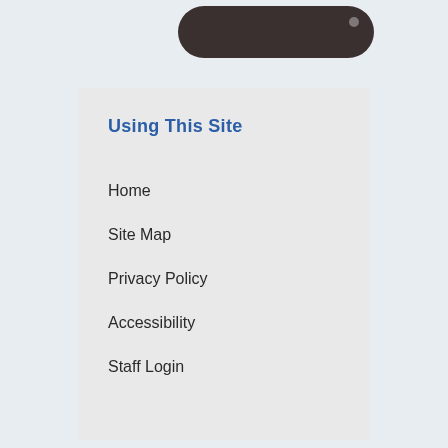[Figure (other): Dark rounded pill/button shape at top of page against light gray background]
Using This Site
Home
Site Map
Privacy Policy
Accessibility
Staff Login